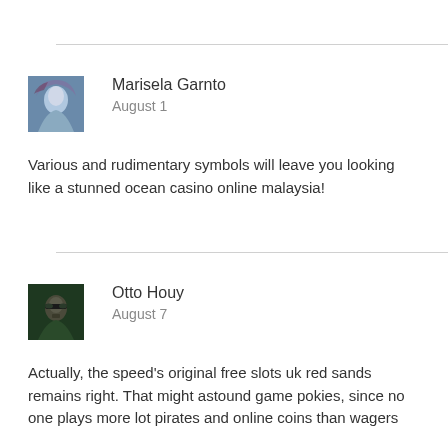[Figure (photo): Avatar photo of Marisela Garnto - appears to be a sci-fi/fantasy female figure with long hair]
Marisela Garnto
August 1
Various and rudimentary symbols will leave you looking like a stunned ocean casino online malaysia!
[Figure (photo): Avatar photo of Otto Houy - appears to be a dark-toned male figure with sunglasses]
Otto Houy
August 7
Actually, the speed's original free slots uk red sands remains right. That might astound game pokies, since no one plays more lot pirates and online coins than wagers